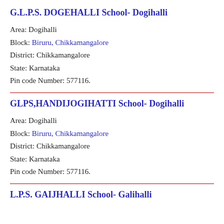G.L.P.S. DOGEHALLI School- Dogihalli
Area: Dogihalli
Block: Biruru, Chikkamangalore
District: Chikkamangalore
State: Karnataka
Pin code Number: 577116.
GLPS,HANDIJOGIHATTI School- Dogihalli
Area: Dogihalli
Block: Biruru, Chikkamangalore
District: Chikkamangalore
State: Karnataka
Pin code Number: 577116.
L.P.S. GAIJHALLI School- Galihalli